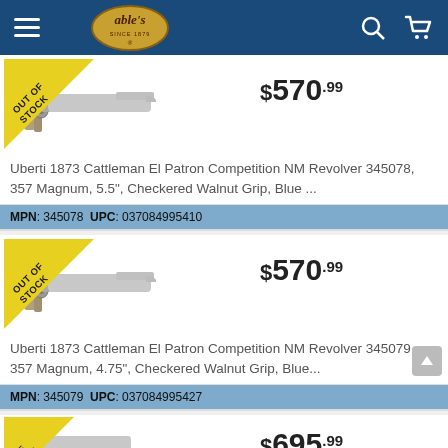able's — navigation header with hamburger menu, logo, search and cart icons
[Figure (photo): Uberti 1873 revolver product listing image with OUT OF STOCK badge, price $570.99]
Uberti 1873 Cattleman El Patron Competition NM Revolver 345078, 357 Magnum, 5.5", Checkered Walnut Grip, Blue ...
MPN: 345078  UPC: 037084995410
[Figure (photo): Uberti 1873 revolver product listing image with OUT OF STOCK badge, price $570.99]
Uberti 1873 Cattleman El Patron Competition NM Revolver 345079, 357 Magnum, 4.75", Checkered Walnut Grip, Blue...
MPN: 345079  UPC: 037084995427
[Figure (photo): Partial product listing image with OUT OF STOCK badge, price $695.99]